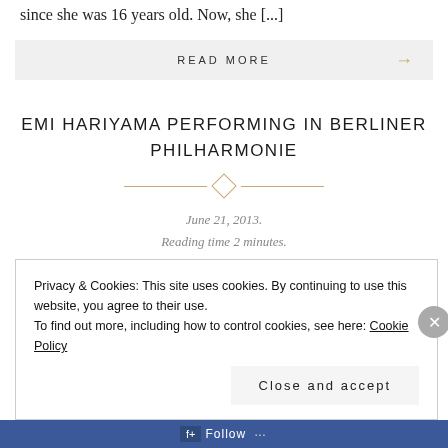since she was 16 years old. Now, she [...]
READ MORE →
EMI HARIYAMA PERFORMING IN BERLINER PHILHARMONIE
June 21, 2013.
Reading time 2 minutes.
Privacy & Cookies: This site uses cookies. By continuing to use this website, you agree to their use.
To find out more, including how to control cookies, see here: Cookie Policy
Close and accept
Follow